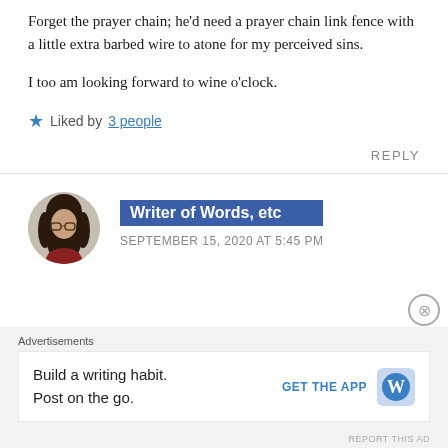Forget the prayer chain; he'd need a prayer chain link fence with a little extra barbed wire to atone for my perceived sins.
I too am looking forward to wine o'clock.
★ Liked by 3 people
REPLY
Writer of Words, etc
SEPTEMBER 15, 2020 AT 5:45 PM
Advertisements
Build a writing habit. Post on the go.
GET THE APP
REPORT THIS AD